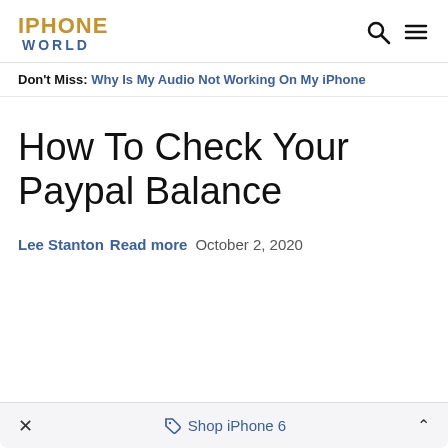IPHONE WORLD
Don't Miss: Why Is My Audio Not Working On My iPhone
How To Check Your Paypal Balance
Lee Stanton Read more October 2, 2020
× Shop iPhone 6 ^